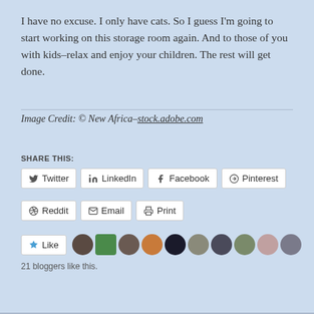I have no excuse. I only have cats. So I guess I'm going to start working on this storage room again. And to those of you with kids–relax and enjoy your children. The rest will get done.
Image Credit: © New Africa–stock.adobe.com
Share This:
Twitter  LinkedIn  Facebook  Pinterest  Reddit  Email  Print
Like  21 bloggers like this.